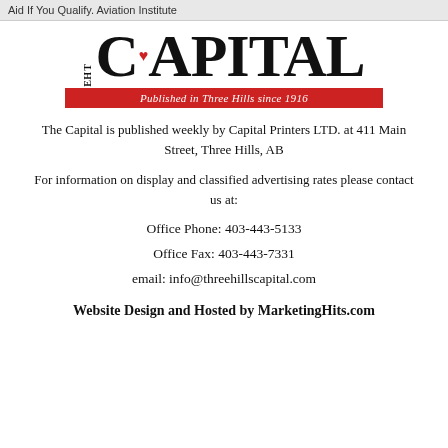Aid If You Qualify. Aviation Institute
[Figure (logo): The Capital newspaper logo with maple leaf, large bold CAPITAL text, and red banner reading 'Published in Three Hills since 1916']
The Capital is published weekly by Capital Printers LTD. at 411 Main Street, Three Hills, AB
For information on display and classified advertising rates please contact us at:
Office Phone: 403-443-5133
Office Fax: 403-443-7331
email: info@threehillscapital.com
Website Design and Hosted by MarketingHits.com